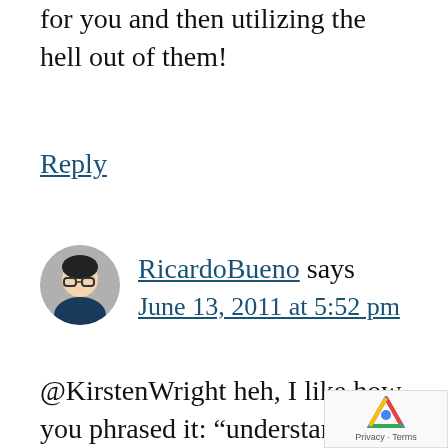...amily with tools (and actually find for you and then utilizing the hell out of them!
Reply
RicardoBueno says June 13, 2011 at 5:52 pm
@KirstenWright heh, I like how you phrased it: “understanding what tools actually work for you then utilizing the hell out of them!” I agree, understanding your goals and the